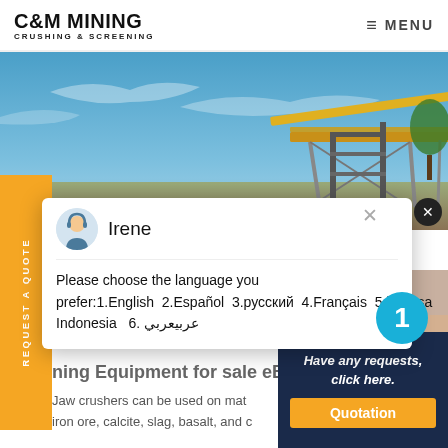C&M MINING CRUSHING & SCREENING   ≡ MENU
[Figure (photo): Mining equipment / conveyor against blue sky background, outdoor mining site]
REQUEST A QUOTE
Irene
Please choose the language you prefer:1.English  2.Español  3.русский  4.Français  5.bahasa Indonesia   6. عربيعربي
[Figure (photo): Customer service representative photo with headset, smiling woman, with notification badge '1']
ning Equipment for sale eBo
Jaw crushers can be used on mat
iron ore, calcite, slag, basalt, and c
Have any requests, click here.
Quotation